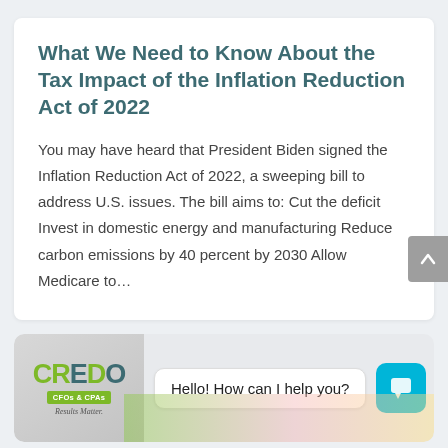What We Need to Know About the Tax Impact of the Inflation Reduction Act of 2022
You may have heard that President Biden signed the Inflation Reduction Act of 2022, a sweeping bill to address U.S. issues. The bill aims to: Cut the deficit Invest in domestic energy and manufacturing Reduce carbon emissions by 40 percent by 2030 Allow Medicare to…
[Figure (logo): CREDO CFOs & CPAs Results Matter. logo with chat widget showing 'Hello! How can I help you?']